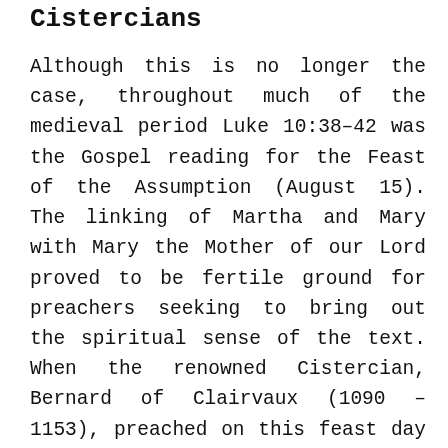Cistercians
Although this is no longer the case, throughout much of the medieval period Luke 10:38–42 was the Gospel reading for the Feast of the Assumption (August 15). The linking of Martha and Mary with Mary the Mother of our Lord proved to be fertile ground for preachers seeking to bring out the spiritual sense of the text. When the renowned Cistercian, Bernard of Clairvaux (1090 – 1153), preached on this feast day he developed a rich and complex allegory to convey his notion of the ideal of the 'mixed life', wherein action and contemplation are united in